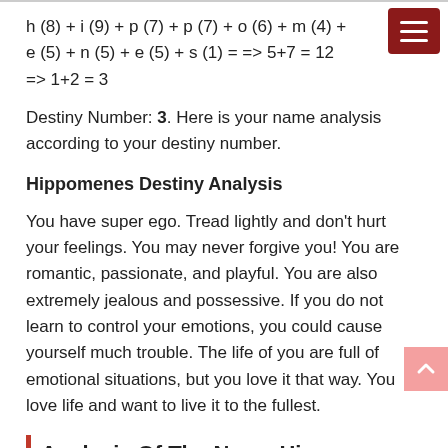h (8) + i (9) + p (7) + p (7) + o (6) + m (4) + e (5) + n (5) + e (5) + s (1) = => 5+7 = 12 => 1+2 = 3
Destiny Number: 3. Here is your name analysis according to your destiny number.
Hippomenes Destiny Analysis
You have super ego. Tread lightly and don't hurt your feelings. You may never forgive you! You are romantic, passionate, and playful. You are also extremely jealous and possessive. If you do not learn to control your emotions, you could cause yourself much trouble. The life of you are full of emotional situations, but you love it that way. You love life and want to live it to the fullest.
Analysis Of The Name Hippomenes